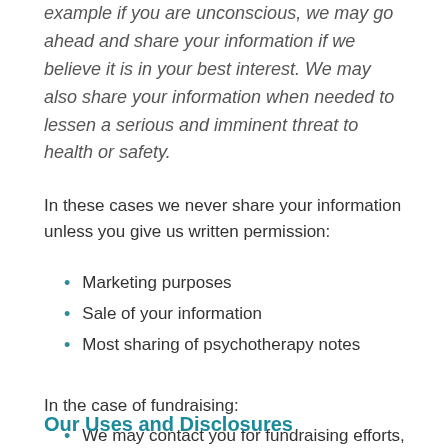example if you are unconscious, we may go ahead and share your information if we believe it is in your best interest. We may also share your information when needed to lessen a serious and imminent threat to health or safety.
In these cases we never share your information unless you give us written permission:
Marketing purposes
Sale of your information
Most sharing of psychotherapy notes
In the case of fundraising:
We may contact you for fundraising efforts, but you can tell us not to contact you again.
Our Uses and Disclosures